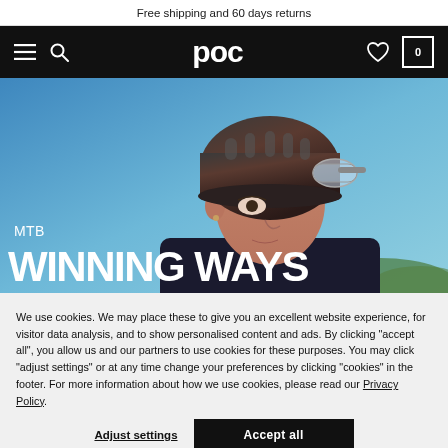Free shipping and 60 days returns
[Figure (logo): POC brand logo in white on black navigation bar with hamburger menu, search icon, heart icon, and cart icon showing 0]
[Figure (photo): Close-up of a person wearing a dark MTB helmet with clear goggles, blue sky background, with overlay text MTB and WINNING WAYS]
MTB
WINNING WAYS
We use cookies. We may place these to give you an excellent website experience, for visitor data analysis, and to show personalised content and ads. By clicking "accept all", you allow us and our partners to use cookies for these purposes. You may click "adjust settings" or at any time change your preferences by clicking "cookies" in the footer. For more information about how we use cookies, please read our Privacy Policy.
Adjust settings
Accept all